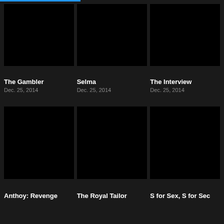[Figure (screenshot): Mobile app screenshot showing a grid of movie thumbnails with titles and release dates]
The Gambler
Dec. 25, 2014
Selma
Dec. 25, 2014
The Interview
Dec. 25, 2014
Anthoy: Revenge (partial)
The Royal Tailor (partial)
S for Sex, S for Sec (partial)